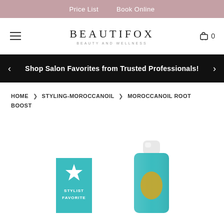Price List   Book Online
BEAUTIFOX
BEAUTY AND WELLNESS
Shop Salon Favorites from Trusted Professionals!
HOME > STYLING-MOROCCANOIL > MOROCCANOIL ROOT BOOST
[Figure (photo): Moroccanoil Root Boost product bottle with a teal/turquoise label and white cap, alongside a teal Stylist Favorite badge with a star icon]